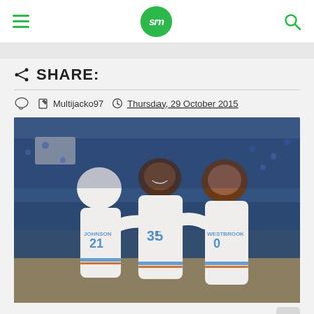sm (Sports Media logo) — hamburger menu, search icon
SHARE:
Multijacko97   Thursday, 29 October 2015
[Figure (photo): Three Oklahoma City Thunder NBA players in white uniforms celebrating together on the court. Player #35 in the center is smiling, with players on each side (including #21 JOHNSON on the left, and another player on the right) reaching toward him. Crowd visible in the background.]
Image: Sports Illustrated